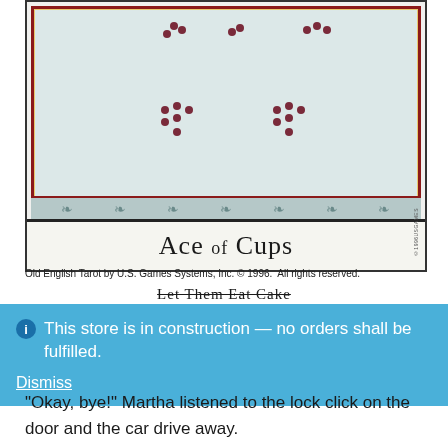[Figure (photo): Tarot card image - Ace of Cups from Old English Tarot deck, showing decorative borders with dots/berries pattern on a pale blue-green background, with ornate yellow and red border with scrollwork and clover motifs. Card title band at bottom reads 'Ace of Cups'.]
Old English Tarot by U.S. Games Systems, Inc. © 1996.  All rights reserved.
Let Them Eat Cake
This store is in construction — no orders shall be fulfilled.
Dismiss
“Okay, bye!” Martha listened to the lock click on the door and the car drive away.